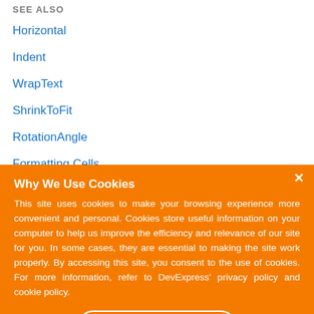SEE ALSO
Horizontal
Indent
WrapText
ShrinkToFit
RotationAngle
Formatting Cells
Why We Use Cookies
This site uses cookies to make your browsing experience more convenient and personal. Cookies store useful information on your computer to help us improve the efficiency and relevance of our site for you. In some cases, they are essential to making the site work properly. By accessing this site, you consent to the use of cookies. For more information, refer to DevExpress' privacy policy and cookie policy.
I UNDERSTAND